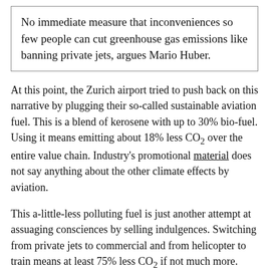No immediate measure that inconveniences so few people can cut greenhouse gas emissions like banning private jets, argues Mario Huber.
At this point, the Zurich airport tried to push back on this narrative by plugging their so-called sustainable aviation fuel. This is a blend of kerosene with up to 30% bio-fuel. Using it means emitting about 18% less CO₂ over the entire value chain. Industry's promotional material does not say anything about the other climate effects by aviation.
This a-little-less polluting fuel is just another attempt at assuaging consciences by selling indulgences. Switching from private jets to commercial and from helicopter to train means at least 75% less CO₂ if not much more. Fortunately, reporting has been skeptical. Bloomberg put quotes around the "greener" label. Vice outright